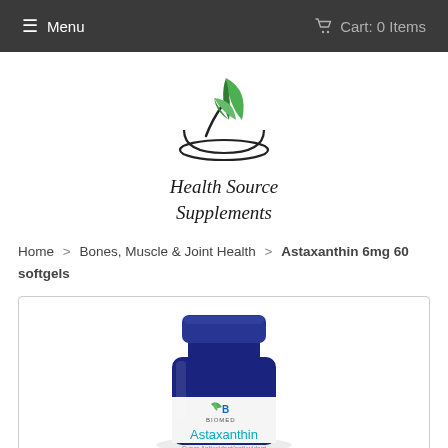≡ Menu   🛒 Cart: 0 Items
[Figure (logo): Health Source Supplements logo: mortar and pestle with green leaves, italic text 'Health Source Supplements']
Home > Bones, Muscle & Joint Health > Astaxanthin 6mg 60 softgels
[Figure (photo): Product photo of Astaxanthin 6mg 60 softgels supplement bottle by Biomed brand, dark blue bottle with white label showing 'Astaxanthin' text in teal, label partially cut off at bottom reading 'Super Antioxidant/antioxidant']